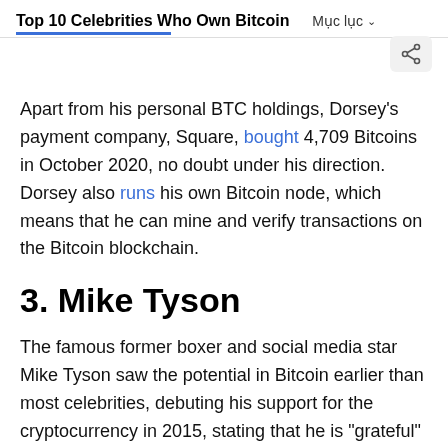Top 10 Celebrities Who Own Bitcoin
Apart from his personal BTC holdings, Dorsey's payment company, Square, bought 4,709 Bitcoins in October 2020, no doubt under his direction. Dorsey also runs his own Bitcoin node, which means that he can mine and verify transactions on the Bitcoin blockchain.
3. Mike Tyson
The famous former boxer and social media star Mike Tyson saw the potential in Bitcoin earlier than most celebrities, debuting his support for the cryptocurrency in 2015, stating that he is "grateful" to